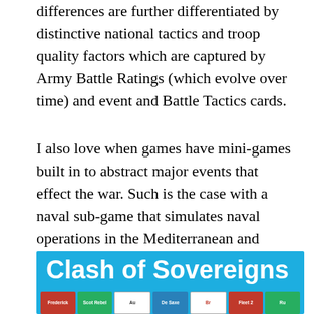differences are further differentiated by distinctive national tactics and troop quality factors which are captured by Army Battle Ratings (which evolve over time) and event and Battle Tactics cards.
I also love when games have mini-games built in to abstract major events that effect the war. Such is the case with a naval sub-game that simulates naval operations in the Mediterranean and Atlantic, including the annual Bourbon Treasure Fleet's risky voyage home.
[Figure (illustration): Box art for 'Clash of Sovereigns' board game on a blue background, showing the game title in large white bold text and a row of game cards at the bottom including Frederick, Scot Rebel, Au, De Saxe, Br, Fleet 2, and Ru cards.]